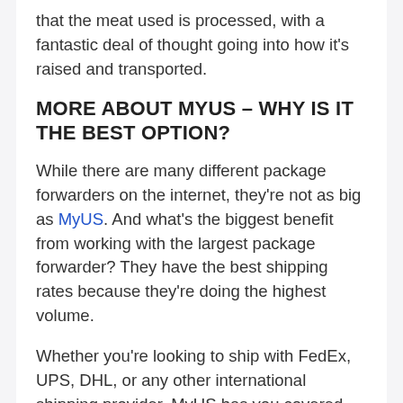that the meat used is processed, with a fantastic deal of thought going into how it's raised and transported.
MORE ABOUT MYUS – WHY IS IT THE BEST OPTION?
While there are many different package forwarders on the internet, they're not as big as MyUS. And what's the biggest benefit from working with the largest package forwarder? They have the best shipping rates because they're doing the highest volume.
Whether you're looking to ship with FedEx, UPS, DHL, or any other international shipping provider, MyUS has you covered. On one screen,